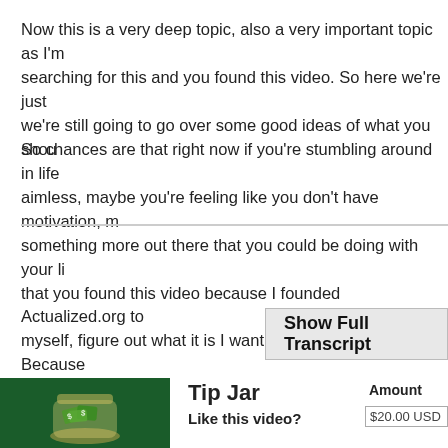Now this is a very deep topic, also a very important topic as I'm searching for this and you found this video. So here we're just we're still going to go over some good ideas of what you shou
So chances are that right now if you're stumbling around in life aimless, maybe you're feeling like you don't have motivation, m something more out there that you could be doing with your li that you found this video because I founded Actualized.org to myself, figure out what it is I want to do with my life. Because
Show Full Transcript
[Figure (illustration): Tip Jar illustration showing a glass jar with money/cash on a dark green background]
Tip Jar
Amount
Like this video?
$20.00 USD